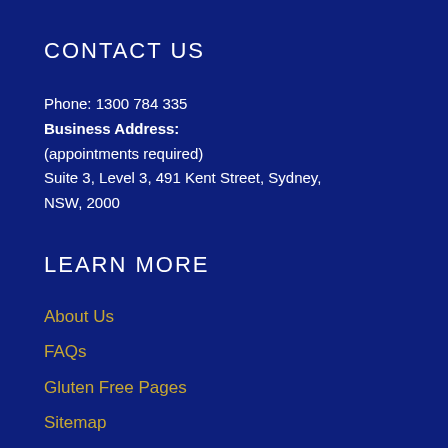CONTACT US
Phone: 1300 784 335
Business Address:
(appointments required)
Suite 3, Level 3, 491 Kent Street, Sydney, NSW, 2000
LEARN MORE
About Us
FAQs
Gluten Free Pages
Sitemap